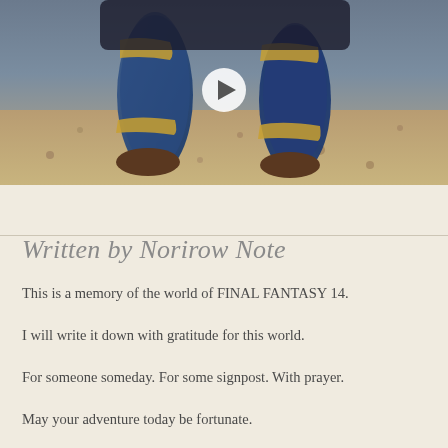[Figure (photo): Screenshot from Final Fantasy XIV showing character boots/lower body standing on rocky ground. A video play button is overlaid in the center.]
Written by Norirow Note
This is a memory of the world of FINAL FANTASY 14.
I will write it down with gratitude for this world.
For someone someday. For some signpost. With prayer.
May your adventure today be fortunate.
[Figure (logo): FINAL FANTASY XIV logo text]
(C)SQUARE ENIX CO., LTD. All Rights Reserved.